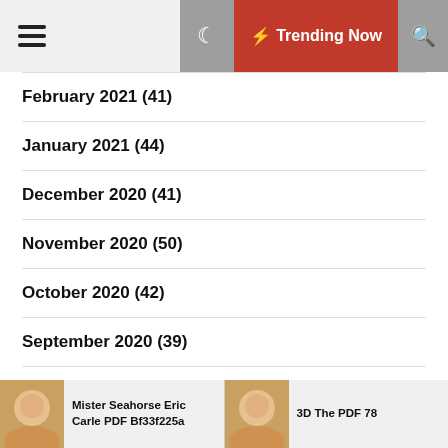Trending Now
February 2021 (41)
January 2021 (44)
December 2020 (41)
November 2020 (50)
October 2020 (42)
September 2020 (39)
August 2020 (44)
Mister Seahorse Eric Carle PDF Bf33f225a
3D The PDF 78